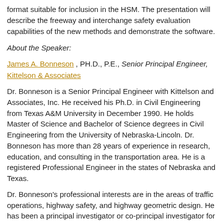format suitable for inclusion in the HSM. The presentation will describe the freeway and interchange safety evaluation capabilities of the new methods and demonstrate the software.
About the Speaker:
James A. Bonneson , PH.D., P.E., Senior Principal Engineer, Kittelson & Associates
Dr. Bonneson is a Senior Principal Engineer with Kittelson and Associates, Inc. He received his Ph.D. in Civil Engineering from Texas A&M University in December 1990. He holds Master of Science and Bachelor of Science degrees in Civil Engineering from the University of Nebraska-Lincoln. Dr. Bonneson has more than 28 years of experience in research, education, and consulting in the transportation area. He is a registered Professional Engineer in the states of Nebraska and Texas.
Dr. Bonneson's professional interests are in the areas of traffic operations, highway safety, and highway geometric design. He has been a principal investigator or co-principal investigator for numerous research projects through which he has developed expertise in capacity analysis, traffic flow theory, simulation, traffic data collection